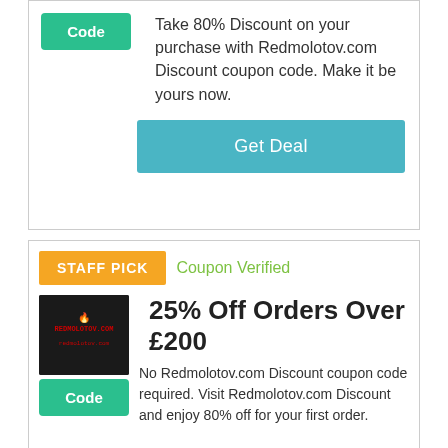Take 80% Discount on your purchase with Redmolotov.com Discount coupon code. Make it be yours now.
Get Deal
STAFF PICK
Coupon Verified
25% Off Orders Over £200
No Redmolotov.com Discount coupon code required. Visit Redmolotov.com Discount and enjoy 80% off for your first order.